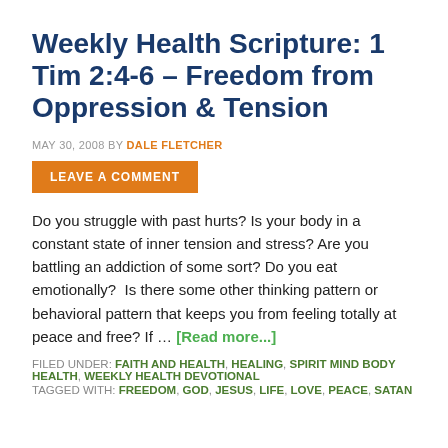Weekly Health Scripture: 1 Tim 2:4-6 – Freedom from Oppression & Tension
MAY 30, 2008 BY DALE FLETCHER
LEAVE A COMMENT
Do you struggle with past hurts? Is your body in a constant state of inner tension and stress? Are you battling an addiction of some sort? Do you eat emotionally?  Is there some other thinking pattern or behavioral pattern that keeps you from feeling totally at peace and free? If … [Read more...]
FILED UNDER: FAITH AND HEALTH, HEALING, SPIRIT MIND BODY HEALTH, WEEKLY HEALTH DEVOTIONAL
TAGGED WITH: FREEDOM, GOD, JESUS, LIFE, LOVE, PEACE, SATAN